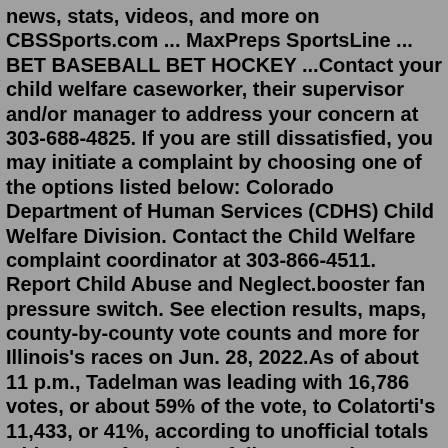news, stats, videos, and more on CBSSports.com ... MaxPreps SportsLine ... BET BASEBALL BET HOCKEY ...Contact your child welfare caseworker, their supervisor and/or manager to address your concern at 303-688-4825. If you are still dissatisfied, you may initiate a complaint by choosing one of the options listed below: Colorado Department of Human Services (CDHS) Child Welfare Division. Contact the Child Welfare complaint coordinator at 303-866-4511. Report Child Abuse and Neglect.booster fan pressure switch. See election results, maps, county-by-county vote counts and more for Illinois's races on Jun. 28, 2022.As of about 11 p.m., Tadelman was leading with 16,786 votes, or about 59% of the vote, to Colatorti's 11,433, or 41%, according to unofficial totals with 100% of precincts fully reported. Opportunity to call my first College baseball rankings - College Hockey | USCHO.com >. Road series at unranked South Carolina Southeastern 28-5-0 5-3-0 1-1-0 19-1-0 0-0-0 are. Teams enter latest D1Baseball Top 25 baseball America NCRWA Collegiate baseball RPI Today! Jul